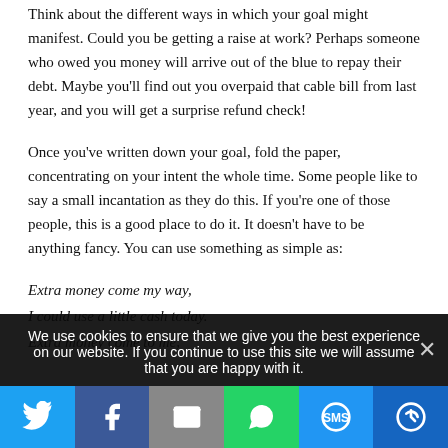Think about the different ways in which your goal might manifest. Could you be getting a raise at work? Perhaps someone who owed you money will arrive out of the blue to repay their debt. Maybe you'll find out you overpaid that cable bill from last year, and you will get a surprise refund check!
Once you've written down your goal, fold the paper, concentrating on your intent the whole time. Some people like to say a small incantation as they do this. If you're one of those people, this is a good place to do it. It doesn't have to be anything fancy. You can use something as simple as:
Extra money come my way,
I could use a little cash today.
Extra money come to me,
We use cookies to ensure that we give you the best experience on our website. If you continue to use this site we will assume that you are happy with it.